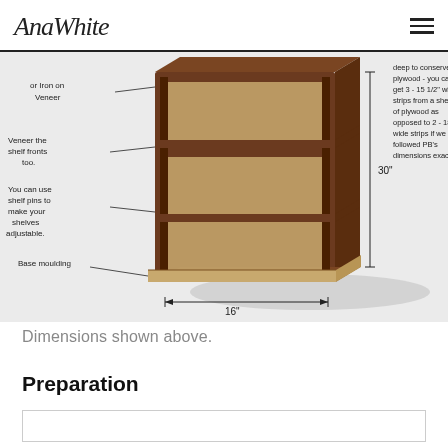AnaWhite
[Figure (engineering-diagram): 3D diagram of a wooden bookcase/cabinet with labeled callouts: 'or Iron on Veneer', 'Veneer the shelf fronts too.', 'You can use shelf pins to make your shelves adjustable.', 'Base moulding'. Dimension annotations show 30" height and 16" width. Right side text explains the depth conserves plywood: 'deep to conserve plywood - you can get 3 - 15 1/2" wide strips from a sheet of plywood as opposed to 2 - 18 1/2" wide strips if we had followed PB's dimensions exactly.']
Dimensions shown above.
Preparation